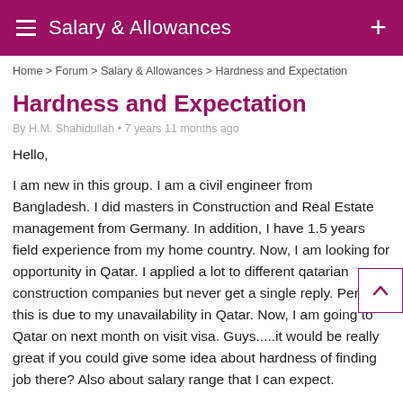Salary & Allowances
Home > Forum > Salary & Allowances > Hardness and Expectation
Hardness and Expectation
By H.M. Shahidullah • 7 years 11 months ago
Hello,

I am new in this group. I am a civil engineer from Bangladesh. I did masters in Construction and Real Estate management from Germany. In addition, I have 1.5 years field experience from my home country. Now, I am looking for opportunity in Qatar. I applied a lot to different qatarian construction companies but never get a single reply. Perheps this is due to my unavailability in Qatar. Now, I am going to Qatar on next month on visit visa. Guys.....it would be really great if you could give some idea about hardness of finding job there? Also about salary range that I can expect.

Thanks in advance.